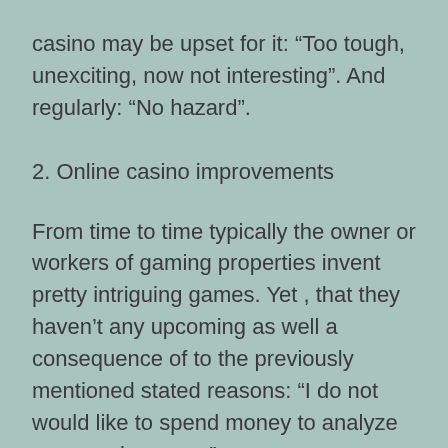casino may be upset for it: “Too tough, unexciting, now not interesting”. And regularly: “No hazard”.
2. Online casino improvements
From time to time typically the owner or workers of gaming properties invent pretty intriguing games. Yet , that they haven’t any upcoming as well a consequence of to the previously mentioned stated reasons: “I do not would like to spend money to analyze new movie games”.